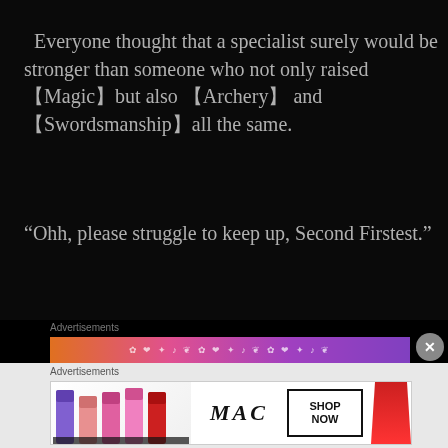Everyone thought that a specialist surely would be stronger than someone who not only raised 【Magic】but also 【Archery】and 【Swordsmanship】all the same.
“Ohh, please struggle to keep up, Second Firstest.”
Advertisements
[Figure (illustration): Colorful banner advertisement strip with icons]
Advertisements
[Figure (illustration): MAC cosmetics advertisement showing lipsticks with MAC logo and SHOP NOW button]